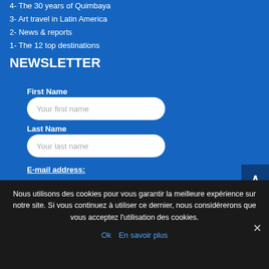4- The 30 years of Quimbaya
3- Art travel in Latin America
2- News & reports
1- The 12 top destinations
NEWSLETTER
First Name
Your first name
Last Name
Your last name
E-mail address:
Nous utilisons des cookies pour vous garantir la meilleure expérience sur notre site. Si vous continuez à utiliser ce dernier, nous considérerons que vous acceptez l'utilisation des cookies.
Ok  En savoir plus